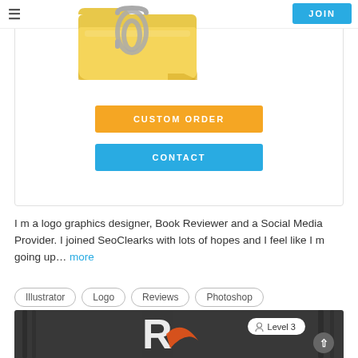[Figure (screenshot): Navigation bar with hamburger menu icon on the left, folder icon with paperclip in center, JOIN button on top right, profile card with CUSTOM ORDER and CONTACT buttons, year 2015 text]
I m a logo graphics designer, Book Reviewer and a Social Media Provider. I joined SeoClearks with lots of hopes and I feel like I m going up... more
Illustrator
Logo
Reviews
Photoshop
[Figure (logo): Dark background image with white and orange R logo letter, pencils in background, Level 3 badge and up arrow button]